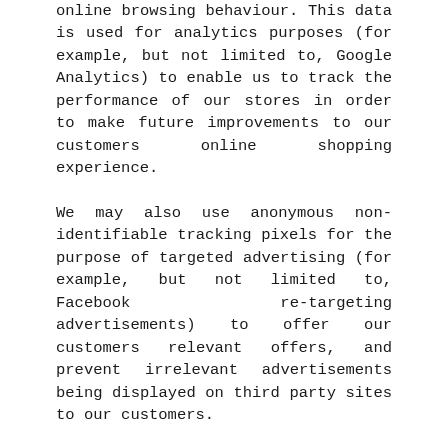online browsing behaviour. This data is used for analytics purposes (for example, but not limited to, Google Analytics) to enable us to track the performance of our stores in order to make future improvements to our customers online shopping experience.
We may also use anonymous non-identifiable tracking pixels for the purpose of targeted advertising (for example, but not limited to, Facebook re-targeting advertisements) to offer our customers relevant offers, and prevent irrelevant advertisements being displayed on third party sites to our customers.
We will only use such tracking pixels if you have expressly agreed to their use on the store.
COOKIES
We use session cookies on our stores to allow customers to place products in their basket; these session cookies are an essential function of our online shopping cart. If you disable these cookies, you will not be able to add items to your cart and make a purchase from our front store.